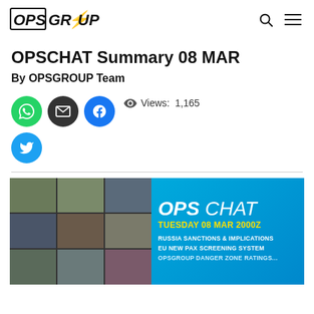OPSGROUP
OPSCHAT Summary 08 MAR
By OPSGROUP Team
Views: 1,165
[Figure (photo): OpsChat session screenshot with video grid of participants on left, and OPS CHAT banner on right showing TUESDAY 08 MAR 2000Z with topics: Russia Sanctions & Implications, EU New Pax Screening System, and more]